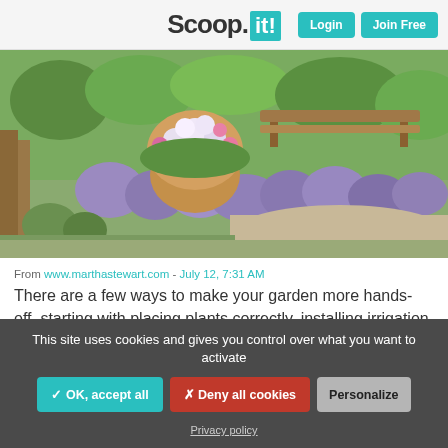Scoop.it! — Login | Join Free
[Figure (photo): Photograph of a garden with blooming flowers, lavender plants, a gravel path, and a wooden bench in the background.]
From www.marthastewart.com - July 12, 7:31 AM
There are a few ways to make your garden more hands-off, starting with placing plants correctly, installing irrigation, and mulching regularly.
This site uses cookies and gives you control over what you want to activate
✓ OK, accept all | ✕ Deny all cookies | Personalize
Privacy policy